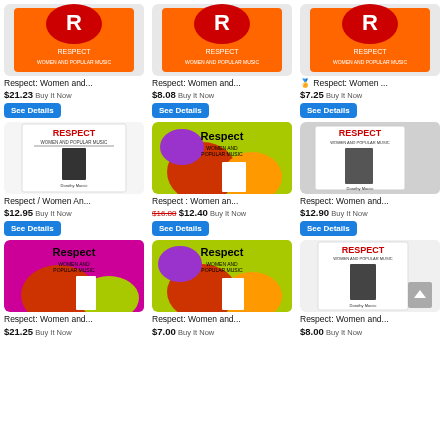[Figure (screenshot): eBay search results showing 9 listings for 'Respect: Women and Popular Music' book in a 3-column grid layout]
Respect: Women and...
$21.23 Buy It Now
See Details
Respect: Women and...
$8.08 Buy It Now
See Details
🏅 Respect: Women ...
$7.25 Buy It Now
See Details
Respect / Women An...
$12.95 Buy It Now
See Details
Respect : Women an...
$16.00 $12.40 Buy It Now
See Details
Respect: Women and...
$12.90 Buy It Now
See Details
Respect: Women and...
$21.25 Buy It Now
Respect: Women and...
$7.00 Buy It Now
Respect: Women and...
$8.00 Buy It Now